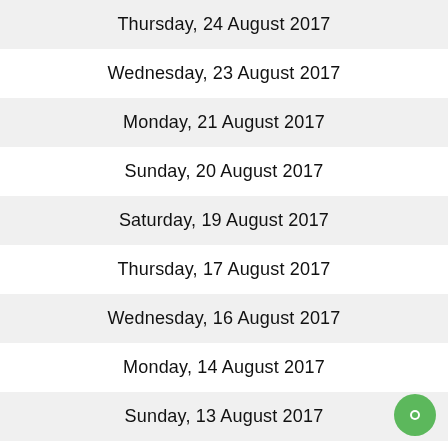Thursday, 24 August 2017
Wednesday, 23 August 2017
Monday, 21 August 2017
Sunday, 20 August 2017
Saturday, 19 August 2017
Thursday, 17 August 2017
Wednesday, 16 August 2017
Monday, 14 August 2017
Sunday, 13 August 2017
Saturday, 12 August 2017
Thursday, 10 August 2017